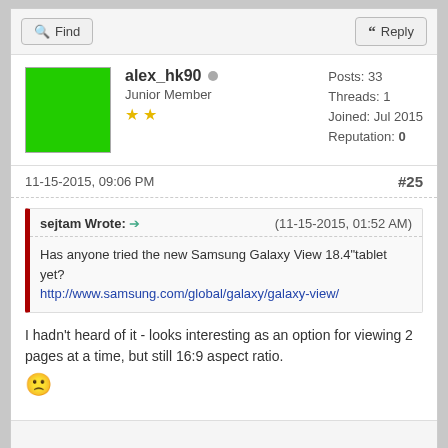Find | Reply (toolbar buttons)
alex_hk90 · Junior Member ★★ | Posts: 33 | Threads: 1 | Joined: Jul 2015 | Reputation: 0
11-15-2015, 09:06 PM  #25
sejtam Wrote: → (11-15-2015, 01:52 AM)
Has anyone tried the new Samsung Galaxy View 18.4"tablet yet?
http://www.samsung.com/global/galaxy/galaxy-view/
I hadn't heard of it - looks interesting as an option for viewing 2 pages at a time, but still 16:9 aspect ratio. 🙁